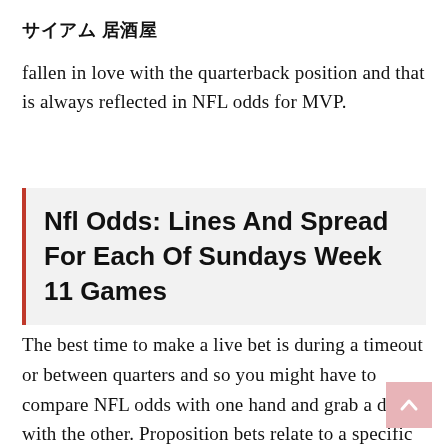サイアム 居酒屋
fallen in love with the quarterback position and that is always reflected in NFL odds for MVP.
Nfl Odds: Lines And Spread For Each Of Sundays Week 11 Games
The best time to make a live bet is during a timeout or between quarters and so you might have to compare NFL odds with one hand and grab a drink with the other. Proposition bets relate to a specific event within a game, but these betting odds do not necessarily pertain to the outcome of a game. Some prop bets can be